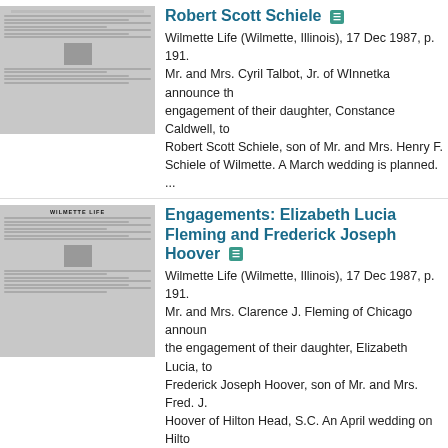[Figure (photo): Thumbnail image of a Wilmette Life newspaper page]
Robert Scott Schiele
Wilmette Life (Wilmette, Illinois), 17 Dec 1987, p. 191. Mr. and Mrs. Cyril Talbot, Jr. of Winnetka announce the engagement of their daughter, Constance Caldwell, to Robert Scott Schiele, son of Mr. and Mrs. Henry F. Schiele of Wilmette. A March wedding is planned. ...
[Figure (photo): Thumbnail image of a Wilmette Life newspaper page]
Engagements: Elizabeth Lucia Fleming and Frederick Joseph Hoover
Wilmette Life (Wilmette, Illinois), 17 Dec 1987, p. 191. Mr. and Mrs. Clarence J. Fleming of Chicago announce the engagement of their daughter, Elizabeth Lucia, to Frederick Joseph Hoover, son of Mr. and Mrs. Fred. J. Hoover of Hilton Head, S.C. An April wedding on Hilton Head is planned. Photograph Elizabeth Lucia Fleming...
[Figure (photo): Thumbnail image of a Wilmette Life newspaper page]
Wedding: Erika Eileen Little and Ryan Walter Schroederus
Wilmette Life (Wilmette, Illinois), 17 Dec 1987, p. 191. Erika Eileen Little and Ryan Walter Schroederus were married Aug. 29 at the Wilmette Lutheran Church with Rev. Andrew M. Weyermann officiating. The bride is the daughter of Mr. and Mrs. Roger Little of Wilmette. The...